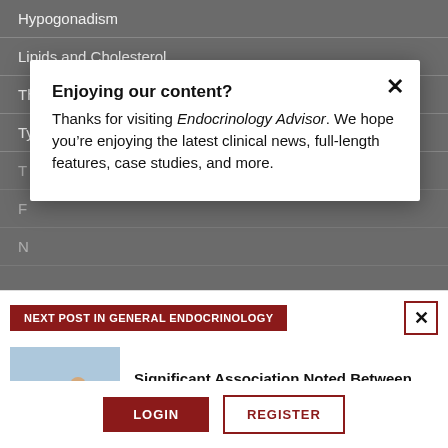Hypogonadism
Lipids and Cholesterol
Thyroid
Type 1 Diabetes
Enjoying our content?
Thanks for visiting Endocrinology Advisor. We hope you're enjoying the latest clinical news, full-length features, case studies, and more.
NEXT POST IN GENERAL ENDOCRINOLOGY
Significant Association Noted Between Sarcopenia and Pain in Older Adults
LOGIN   REGISTER